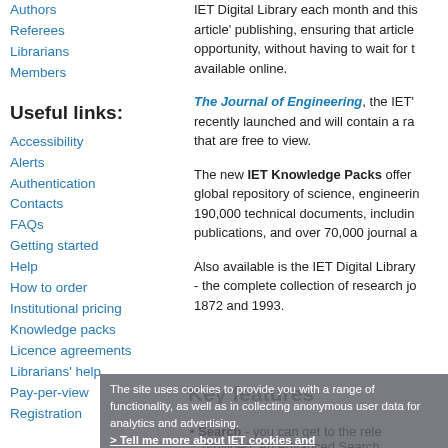Authors
Referees
Librarians
Members
Useful links:
Accessibility
Alerts
Authentication
Contacts
FAQs
Getting started
Help
How to order
Institutional pricing
Knowledge packs
Licence agreements
Librarians' help
Pay-per-view
Registration
IET Digital Library each month and this article' publishing, ensuring that articles opportunity, without having to wait for the available online.
The Journal of Engineering, the IET's recently launched and will contain a range that are free to view.
The new IET Knowledge Packs offer a global repository of science, engineering 190,000 technical documents, including publications, and over 70,000 journal articles
Also available is the IET Digital Library - the complete collection of research journals 1872 and 1993.
Key features
The site uses cookies to provide you with a range of functionality, as well as in collecting anonymous user data for analytics and advertising.
> Tell me more about IET cookies and
Search - you can get to the relevant results provided. An Advanced Search
Subjects - a quick and more quick